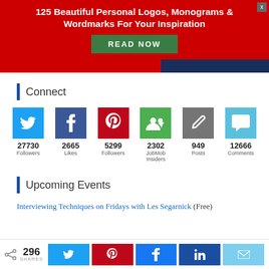[Figure (infographic): Red advertisement banner with title '125 Beautiful Personal Logos, Monograms & Wordmarks For Your Inspiration', a green READ NOW button, a close X button, and a navy bar on the bottom right.]
Connect
[Figure (infographic): Social media connect widget showing icons and counts: Twitter 27730 Followers, Facebook 2665 Likes, Pinterest 5299 Followers, JobMob Insiders 2302, Posts 949, Comments 12666]
Upcoming Events
Interviewing Techniques on Fridays with Les Segarnick (Free)
[Figure (infographic): Share bar with share icon, 296 SHARES count, and social sharing buttons: Twitter (blue), Pinterest (red), Facebook (blue), LinkedIn (dark blue), Email (light blue)]